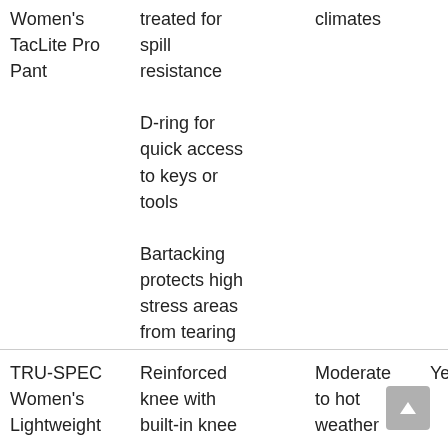| Women's TacLite Pro Pant | treated for spill resistance
D-ring for quick access to keys or tools
Bartacking protects high stress areas from tearing | climates |  |  |
| TRU-SPEC Women's Lightweight | Reinforced knee with built-in knee | Moderate to hot weather | Yes | Yes |